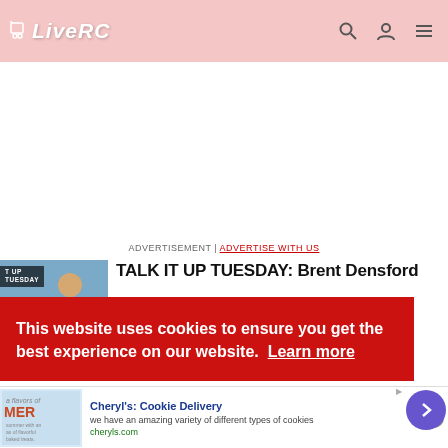LiveRC
ADVERTISEMENT | ADVERTISE WITH US
TALK IT UP TUESDAY: Brent Densford
This website uses cookies to ensure you get the best experience on our website. Learn more
Cheryl's: Cookie Delivery
we have an amazing variety of different types of cookies
cheryls.com